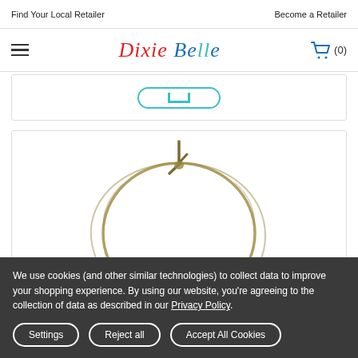Find Your Local Retailer | Become a Retailer
Dixie Belle (hamburger menu, cart with 0 items)
[Figure (screenshot): Partial product card with teal bordered button visible at bottom]
[Figure (photo): A circular wire or twine hoop with a knot tied at the top, on a white background]
We use cookies (and other similar technologies) to collect data to improve your shopping experience. By using our website, you're agreeing to the collection of data as described in our Privacy Policy.
Settings | Reject all | Accept All Cookies